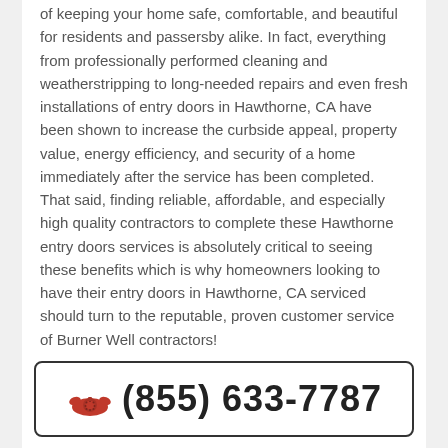of keeping your home safe, comfortable, and beautiful for residents and passersby alike. In fact, everything from professionally performed cleaning and weatherstripping to long-needed repairs and even fresh installations of entry doors in Hawthorne, CA have been shown to increase the curbside appeal, property value, energy efficiency, and security of a home immediately after the service has been completed. That said, finding reliable, affordable, and especially high quality contractors to complete these Hawthorne entry doors services is absolutely critical to seeing these benefits which is why homeowners looking to have their entry doors in Hawthorne, CA serviced should turn to the reputable, proven customer service of Burner Well contractors!
☎ (855) 633-7787